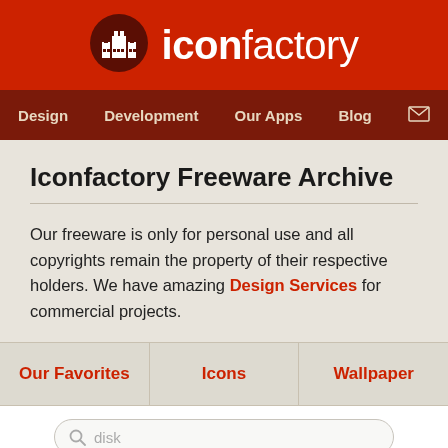iconfactory
[Figure (logo): Iconfactory logo: white factory/building icon inside dark circle on red background, with 'iconfactory' text in white]
Design | Development | Our Apps | Blog
Iconfactory Freeware Archive
Our freeware is only for personal use and all copyrights remain the property of their respective holders. We have amazing Design Services for commercial projects.
Our Favorites
Icons
Wallpaper
disk (search input placeholder)